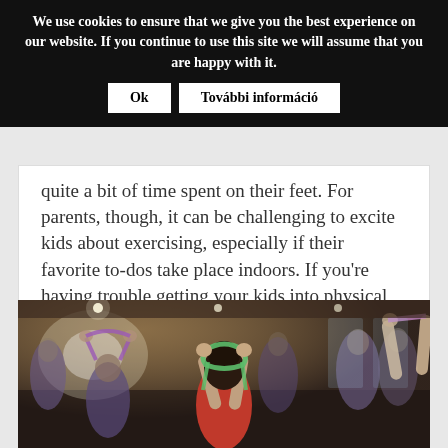We use cookies to ensure that we give you the best experience on our website. If you continue to use this site we will assume that you are happy with it.
quite a bit of time spent on their feet. For parents, though, it can be challenging to excite kids about exercising, especially if their favorite to-dos take place indoors. If you're having trouble getting your kids into physical activity, it's time you slipped a few tricks up your sleeves.
[Figure (photo): Group fitness class with people using resistance bands, view from behind, colorful bands, gym interior with lights]